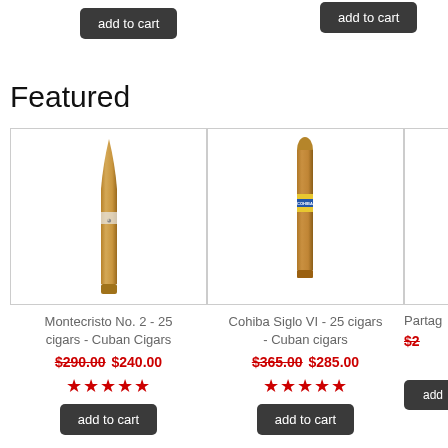add to cart (top left button)
add to cart (top center button)
Featured
[Figure (photo): Montecristo No. 2 cigar standing upright, tapered torpedo shape, light brown wrapper]
Montecristo No. 2 - 25 cigars - Cuban Cigars
$290.00 $240.00
[Figure (photo): Cohiba Siglo VI cigar standing upright with blue/yellow band, straight shape]
Cohiba Siglo VI - 25 cigars - Cuban cigars
$365.00 $285.00
Partag... ciga...
$2...